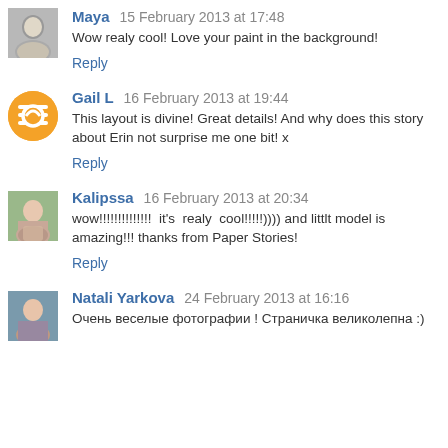Maya  15 February 2013 at 17:48
Wow realy cool! Love your paint in the background!
Reply
Gail L  16 February 2013 at 19:44
This layout is divine! Great details! And why does this story about Erin not surprise me one bit! x
Reply
Kalipssa  16 February 2013 at 20:34
wow!!!!!!!!!!!!!!  it's  realy  cool!!!!!)))) and littlt model is amazing!!! thanks from Paper Stories!
Reply
Natali Yarkova  24 February 2013 at 16:16
Очень веселые фотографии ! Страничка великолепна :)